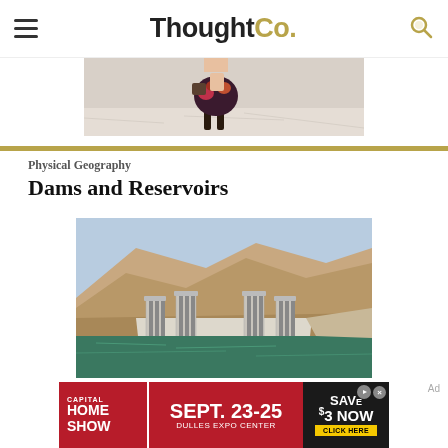ThoughtCo.
[Figure (photo): Partial view of a person in a floral dress and boots standing on a flat bright surface, cropped ad banner image]
[Figure (photo): Hoover Dam with intake towers visible, green reservoir water, rocky canyon walls in background]
Physical Geography
Dams and Reservoirs
[Figure (photo): Capital Home Show advertisement: Sept. 23-25, Dulles Expo Center, Save $3 Now - Click Here]